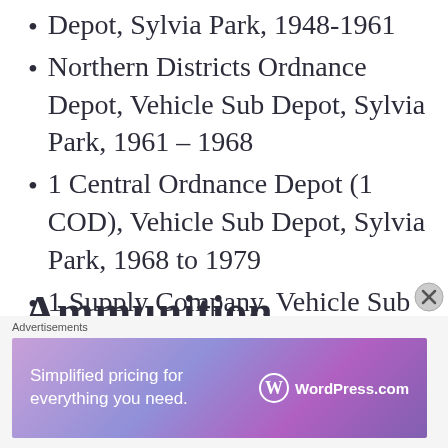Depot, Sylvia Park, 1948–1961
Northern Districts Ordnance Depot, Vehicle Sub Depot, Sylvia Park, 1961 – 1968
1 Central Ordnance Depot (1 COD), Vehicle Sub Depot, Sylvia Park, 1968 to 1979
1 Supply Company, Vehicle Sub Depot, Sylvia Park, 1979 to 1989
Ammunition
[Figure (other): WordPress.com advertisement banner: 'Simplified pricing for everything you need.' with WordPress.com logo]
Advertisements